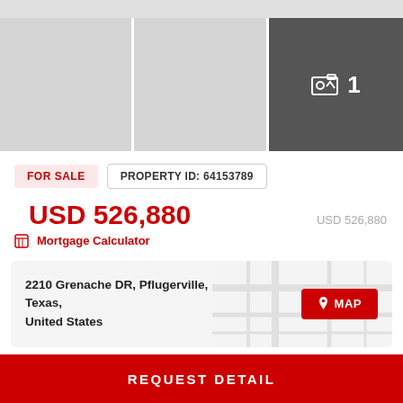[Figure (photo): Property photo gallery strip with three panels: two light gray placeholder panels on the left and center, and a dark gray panel on the right showing a photo icon with the number 1 indicating 1 photo available.]
FOR SALE
PROPERTY ID: 64153789
USD 526,880
USD 526,880
Mortgage Calculator
2210 Grenache DR, Pflugerville, Texas, United States
MAP
REQUEST DETAIL